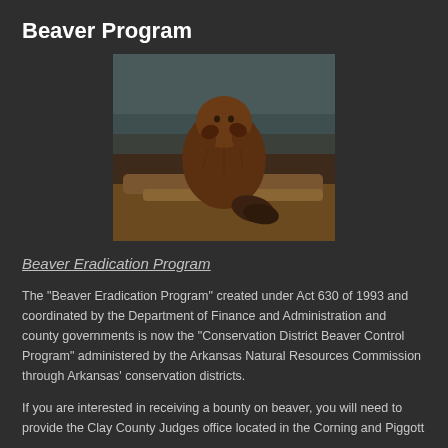Beaver Program
[Figure (photo): A beaver sitting on a log near water, grooming itself, with a flat tail visible]
Beaver Eradication Program
The "Beaver Eradication Program" created under Act 630 of 1993 and coordinated by the Department of Finance and Administration and county governments is now the "Conservation District Beaver Control Program" administered by the Arkansas Natural Resources Commission through Arkansas' conservation districts.
If you are interested in receiving a bounty on beaver, you will need to provide the Clay County Judges office located in the Corning and Piggott